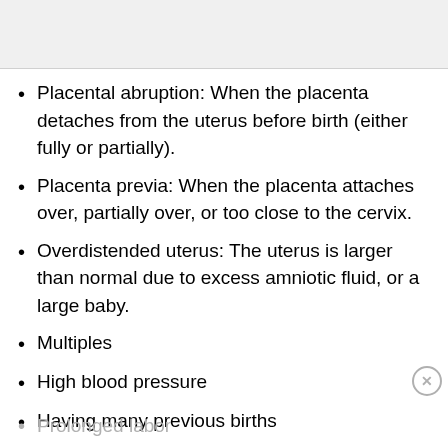Placental abruption: When the placenta detaches from the uterus before birth (either fully or partially).
Placenta previa: When the placenta attaches over, partially over, or too close to the cervix.
Overdistended uterus: The uterus is larger than normal due to excess amniotic fluid, or a large baby.
Multiples
High blood pressure
Having many previous births
Prolonged labor